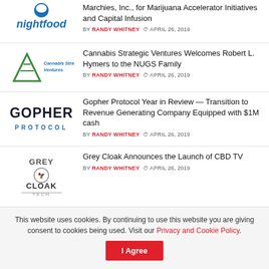[Figure (logo): Nightfood logo - blue bird icon and nightfood text in blue italic]
Marchies, Inc., for Marijuana Accelerator Initiatives and Capital Infusion
BY RANDY WHITNEY  APRIL 26, 2019
[Figure (logo): Cannabis Strategic Ventures logo - green triangle icon with company name in blue italic text]
Cannabis Strategic Ventures Welcomes Robert L. Hymers to the NUGS Family
BY RANDY WHITNEY  APRIL 26, 2019
[Figure (logo): Gopher Protocol logo - dark navy GOPHER text above PROTOCOL in blue spaced letters]
Gopher Protocol Year in Review — Transition to Revenue Generating Company Equipped with $1M cash
BY RANDY WHITNEY  APRIL 26, 2019
[Figure (logo): Grey Cloak Tech logo with eagle emblem]
Grey Cloak Announces the Launch of CBD TV
BY RANDY WHITNEY  APRIL 26, 2019
This website uses cookies. By continuing to use this website you are giving consent to cookies being used. Visit our Privacy and Cookie Policy.